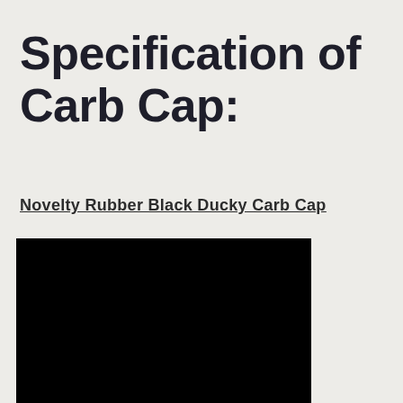Specification of Carb Cap:
Novelty Rubber Black Ducky Carb Cap
[Figure (photo): Black rectangular product image of a rubber ducky carb cap, shown against a dark/black background.]